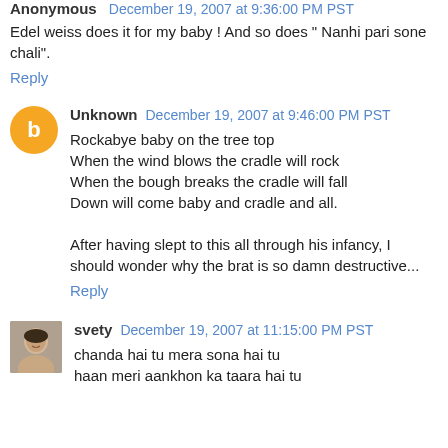Anonymous December 19, 2007 at 9:36:00 PM PST
Edel weiss does it for my baby ! And so does " Nanhi pari sone chali".
Reply
Unknown December 19, 2007 at 9:46:00 PM PST
Rockabye baby on the tree top
When the wind blows the cradle will rock
When the bough breaks the cradle will fall
Down will come baby and cradle and all.

After having slept to this all through his infancy, I should wonder why the brat is so damn destructive...
Reply
svety December 19, 2007 at 11:15:00 PM PST
chanda hai tu mera sona hai tu
haan meri aankhon ka taara hai tu